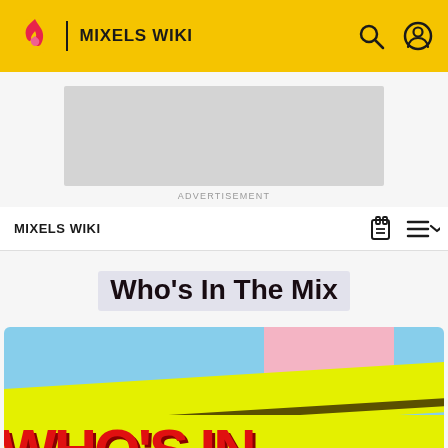MIXELS WIKI
[Figure (other): Advertisement placeholder box]
ADVERTISEMENT
MIXELS WIKI
Who's In The Mix
[Figure (illustration): Partial view of colorful Mixels promotional image with yellow band and red text at bottom reading 'WHO'S IN']